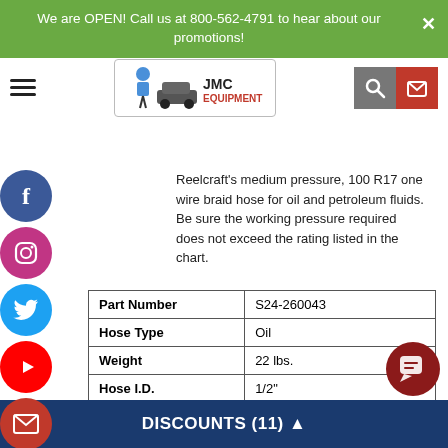We are OPEN! Call us at 800-562-4791 to hear about our promotions!
[Figure (logo): JMC Equipment logo with cartoon mechanic figure and car]
Reelcraft's medium pressure, 100 R17 one wire braid hose for oil and petroleum fluids. Be sure the working pressure required does not exceed the rating listed in the chart.
| Part Number | S24-260043 |
| Hose Type | Oil |
| Weight | 22 lbs. |
| Hose I.D. | 1/2" |
| Hose O.D. | 0.85" |
| Hose Length | 75' |
DISCOUNTS (11) ▲